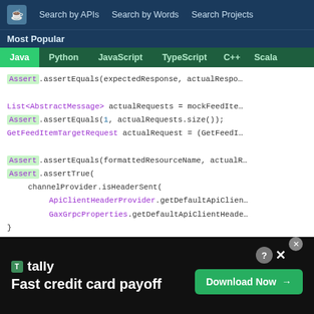Search by APIs  Search by Words  Search Projects
Most Popular
Java  Python  JavaScript  TypeScript  C++  Scala
[Figure (screenshot): Java code snippet showing Assert.assertEquals and Assert.assertTrue calls with channelProvider and ApiClientHeaderProvider]
[Figure (screenshot): Advertisement banner: Tally app - Fast credit card payoff with Download Now button]